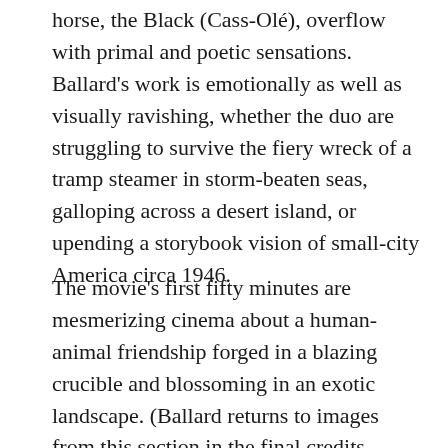horse, the Black (Cass-Olé), overflow with primal and poetic sensations. Ballard's work is emotionally as well as visually ravishing, whether the duo are struggling to survive the fiery wreck of a tramp steamer in storm-beaten seas, galloping across a desert island, or upending a storybook vision of small-city America circa 1946.
The movie's first fifty minutes are mesmerizing cinema about a human-animal friendship forged in a blazing crucible and blossoming in an exotic landscape. (Ballard returns to images from this section in the final credits—among the most closely watched and applauded in movie history.) The next fifty minutes return the two heroes to civilization: a middle-class home, a modest